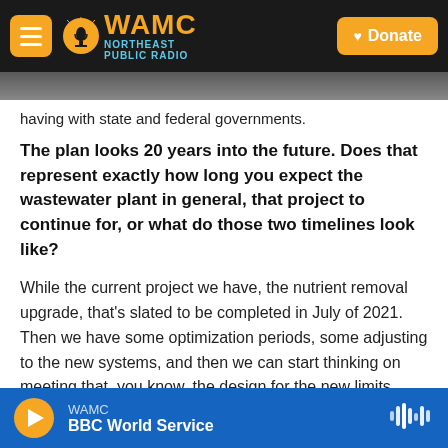WAMC NORTHEAST PUBLIC RADIO | Donate
having with state and federal governments.
The plan looks 20 years into the future. Does that represent exactly how long you expect the wastewater plant in general, that project to continue for, or what do those two timelines look like?
While the current project we have, the nutrient removal upgrade, that's slated to be completed in July of 2021. Then we have some optimization periods, some adjusting to the new systems, and then we can start thinking on meeting that, you know, the design for the new limits imposed on
WAMC | BBC World Service